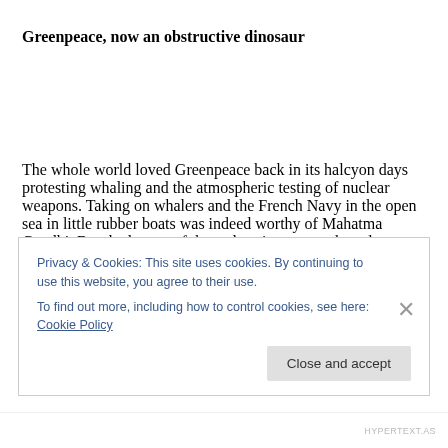Greenpeace, now an obstructive dinosaur
The whole world loved Greenpeace back in its halcyon days protesting whaling and the atmospheric testing of nuclear weapons. Taking on whalers and the French Navy in the open sea in little rubber boats was indeed worthy of Mahatma Gandhi. But the legacy of those days is now an obstacle to Greenpeace helping to fight the much bigger
Privacy & Cookies: This site uses cookies. By continuing to use this website, you agree to their use.
To find out more, including how to control cookies, see here: Cookie Policy
HYPERTEXT.AS